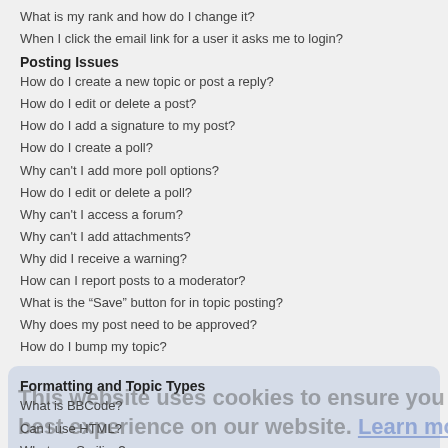What is my rank and how do I change it?
When I click the email link for a user it asks me to login?
Posting Issues
How do I create a new topic or post a reply?
How do I edit or delete a post?
How do I add a signature to my post?
How do I create a poll?
Why can't I add more poll options?
How do I edit or delete a poll?
Why can't I access a forum?
Why can't I add attachments?
Why did I receive a warning?
How can I report posts to a moderator?
What is the "Save" button for in topic posting?
Why does my post need to be approved?
How do I bump my topic?
Formatting and Topic Types
What is BBCode?
Can I use HTML?
What are Smilies?
Can I post images?
What are global announcements?
What are announcements?
What are sticky topics?
What are locked topics?
What are topic icons?